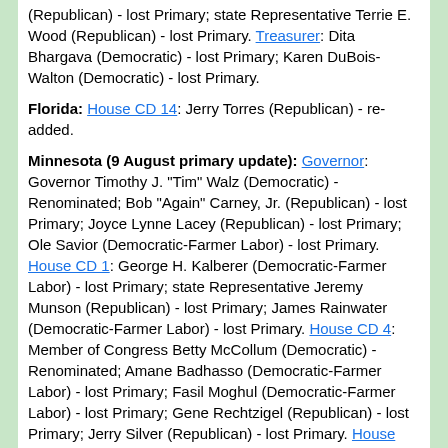(Republican) - lost Primary; state Representative Terrie E. Wood (Republican) - lost Primary. Treasurer: Dita Bhargava (Democratic) - lost Primary; Karen DuBois-Walton (Democratic) - lost Primary.
Florida: House CD 14: Jerry Torres (Republican) - re-added.
Minnesota (9 August primary update): Governor: Governor Timothy J. "Tim" Walz (Democratic) - Renominated; Bob "Again" Carney, Jr. (Republican) - lost Primary; Joyce Lynne Lacey (Republican) - lost Primary; Ole Savior (Democratic-Farmer Labor) - lost Primary. House CD 1: George H. Kalberer (Democratic-Farmer Labor) - lost Primary; state Representative Jeremy Munson (Republican) - lost Primary; James Rainwater (Democratic-Farmer Labor) - lost Primary. House CD 4: Member of Congress Betty McCollum (Democratic) - Renominated; Amane Badhasso (Democratic-Farmer Labor) - lost Primary; Fasil Moghul (Democratic-Farmer Labor) - lost Primary; Gene Rechtzigel (Republican) - lost Primary; Jerry Silver (Republican) - lost Primary. House CD 5: Member of Congress Ilhan Omar (Democratic) - Renominated; Guy T. Gaskin (Republican) - lost Primary; Aliena Jeanene "AJ" Kern (Democratic-Farmer Labor) - lost Primary; Albert Ross (Democratic-Farmer Labor) - lost Primary; former Minneapolis City Council Member Don